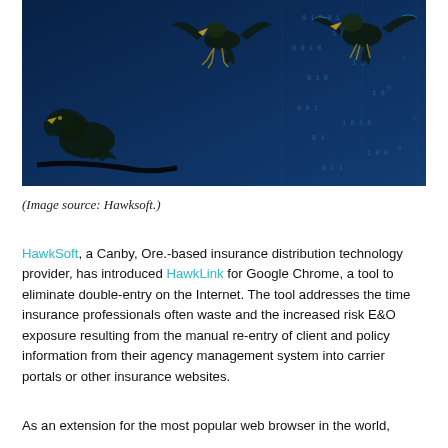[Figure (photo): Eagles in flight over a dark blue digital matrix / binary code background. Three eagles are shown mid-flight with binary numbers visible in the background, giving a technology meets nature theme.]
(Image source: Hawksoft.)
HawkSoft, a Canby, Ore.-based insurance distribution technology provider, has introduced HawkLink for Google Chrome, a tool to eliminate double-entry on the Internet. The tool addresses the time insurance professionals often waste and the increased risk E&O exposure resulting from the manual re-entry of client and policy information from their agency management system into carrier portals or other insurance websites.
As an extension for the most popular web browser in the world,